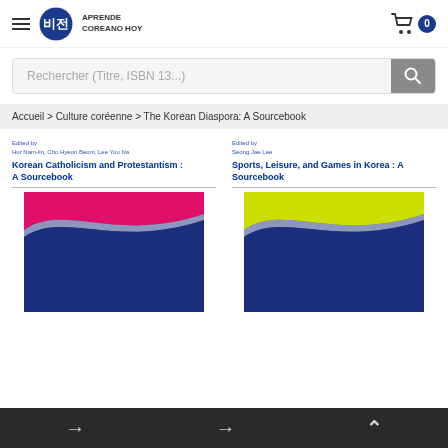APRENDE COREANO HOY
Rechercher (Titre, ISBN 13...)
Accueil > Culture coréenne > The Korean Diaspora: A Sourcebook
[Figure (illustration): Book cover: Korean Catholicism and Protestantism: A Sourcebook. Edited by Hur Nam-lin, Cho Hyeon Beom, Lee You Na. Dark navy blue cover with pink/magenta and white wave at top.]
[Figure (illustration): Book cover: Sports, Leisure, and Games in Korea: A Sourcebook. Edited by Seong Jae Lee. Dark navy blue cover with yellow-green wave at top.]